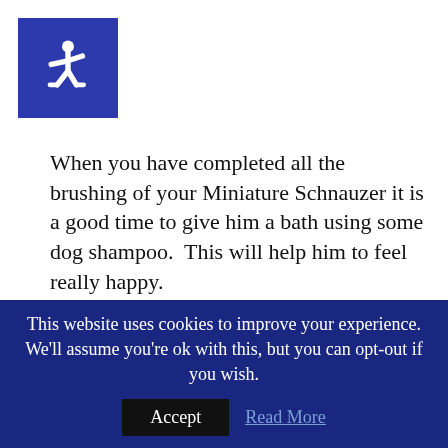[Figure (logo): Blue square with white wheelchair accessibility icon]
When you have completed all the brushing of your Miniature Schnauzer it is a good time to give him a bath using some dog shampoo.  This will help him to feel really happy.
Give your Miniature Schnauzer puppy or older dog the very best grooming you can.  By doing that, you will have a happy pet that continues to
This website uses cookies to improve your experience. We'll assume you're ok with this, but you can opt-out if you wish. Accept  Read More